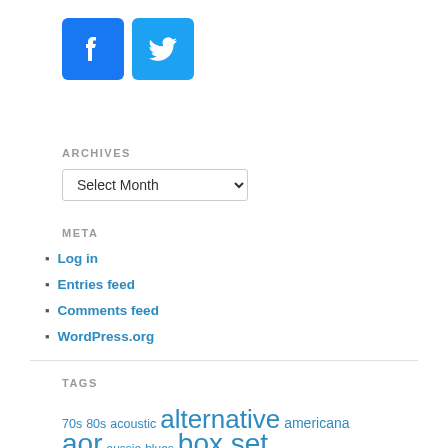[Figure (logo): Facebook and Twitter social media icon buttons (blue rounded squares)]
ARCHIVES
Select Month (dropdown)
META
Log in
Entries feed
Comments feed
WordPress.org
TAGS
70s 80s acoustic alternative americana aor aussie blues box set